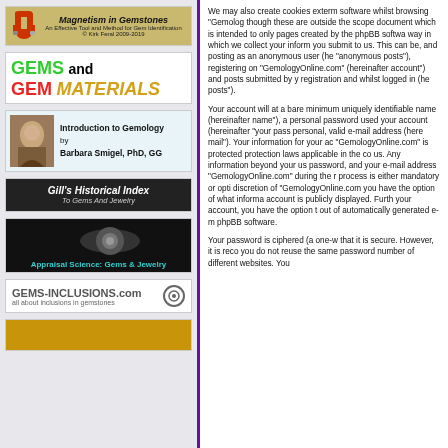[Figure (illustration): Magnetism in Gemstones book advertisement with magnet logo]
[Figure (illustration): GEMS and GEM MATERIALS book advertisement in green, black, red and yellow text]
[Figure (illustration): Introduction to Gemology by Barbara Smigel PhD GG advertisement with author photo]
[Figure (illustration): Gill's Historical Index To Gems And Jewelry advertisement on dark background]
[Figure (illustration): Appraisal Science: Gems & Jewelry advertisement on dark background]
[Figure (illustration): GEMS-INCLUSIONS.com all about inclusions in gemstones advertisement]
[Figure (illustration): Partial advertisement at bottom left]
We may also create cookies externally software whilst browsing "Gemolog... though these are outside the scope... document which is intended to only... pages created by the phpBB softwa... way in which we collect your inform... you submit to us. This can be, and... posting as an anonymous user (he... "anonymous posts"), registering on... "GemologyOnline.com" (hereinafter... account") and posts submitted by y... registration and whilst logged in (he... posts").
Your account will at a bare minimum... uniquely identifiable name (hereinafter... name"), a personal password used... your account (hereinafter "your pass... personal, valid e-mail address (here... mail"). Your information for your ac... "GemologyOnline.com" is protected... protection laws applicable in the co... us. Any information beyond your us... password, and your e-mail address... "GemologyOnline.com" during the r... process is either mandatory or opti... discretion of "GemologyOnline.com... you have the option of what informa... account is publicly displayed. Furth... your account, you have the option t... out of automatically generated e-m... phpBB software.
Your password is ciphered (a one-w... that it is secure. However, it is reco... you do not reuse the same password... number of different websites. You...